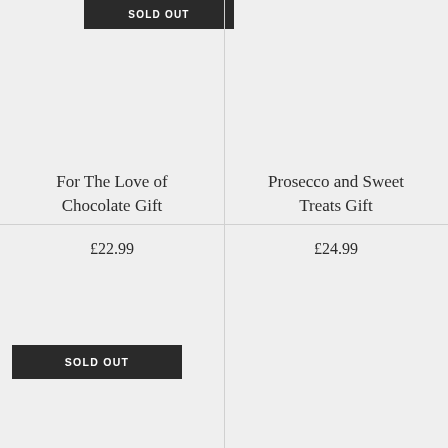[Figure (other): Sold Out button at top of page, dark background with white uppercase text]
For The Love of Chocolate Gift
£22.99
Prosecco and Sweet Treats Gift
£24.99
[Figure (other): Sold Out button at bottom of page, dark background with white uppercase text]